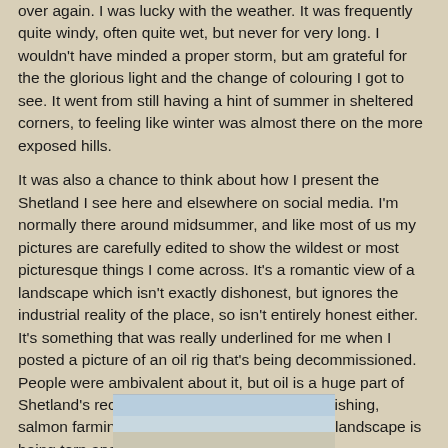over again. I was lucky with the weather. It was frequently quite windy, often quite wet, but never for very long. I wouldn't have minded a proper storm, but am grateful for the the glorious light and the change of colouring I got to see. It went from still having a hint of summer in sheltered corners, to feeling like winter was almost there on the more exposed hills.
It was also a chance to think about how I present the Shetland I see here and elsewhere on social media. I'm normally there around midsummer, and like most of us my pictures are carefully edited to show the wildest or most picturesque things I come across. It's a romantic view of a landscape which isn't exactly dishonest, but ignores the industrial reality of the place, so isn't entirely honest either. It's something that was really underlined for me when I posted a picture of an oil rig that's being decommissioned. People were ambivalent about it, but oil is a huge part of Shetland's recent history and prosperity as is fishing, salmon farming, mussel farming, and now the landscape is being torn apart for a massive windfarm.
[Figure (photo): Partial photo visible at the bottom of the page, appears to show a landscape or seascape scene with pale blue and grey tones.]